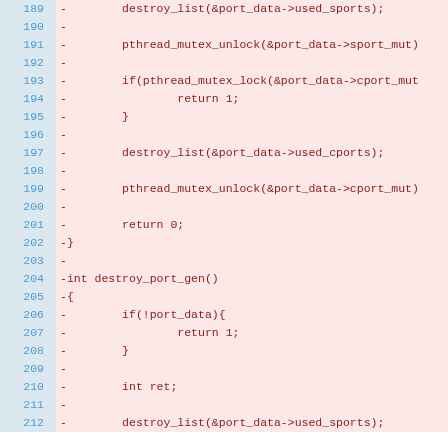[Figure (screenshot): Code diff view showing deleted lines (red background) in C source code, lines 189-212. Line numbers in blue on left, code content showing destroy_list, pthread_mutex_unlock, pthread_mutex_lock, return statements, and destroy_port_gen function definition.]